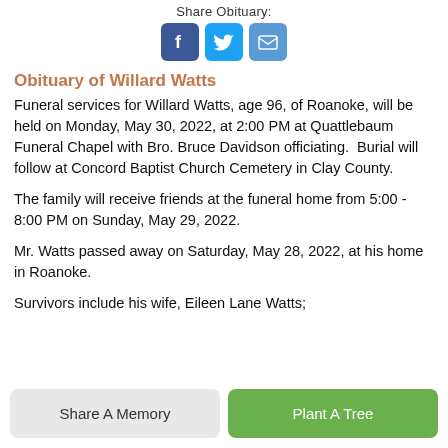Share Obituary:
[Figure (illustration): Three social media share buttons: Facebook (blue), Twitter (blue), Email (blue envelope)]
Obituary of Willard Watts
Funeral services for Willard Watts, age 96, of Roanoke, will be held on Monday, May 30, 2022, at 2:00 PM at Quattlebaum Funeral Chapel with Bro. Bruce Davidson officiating.  Burial will follow at Concord Baptist Church Cemetery in Clay County.
The family will receive friends at the funeral home from 5:00 - 8:00 PM on Sunday, May 29, 2022.
Mr. Watts passed away on Saturday, May 28, 2022, at his home in Roanoke.
Survivors include his wife, Eileen Lane Watts;
Share A Memory
Plant A Tree